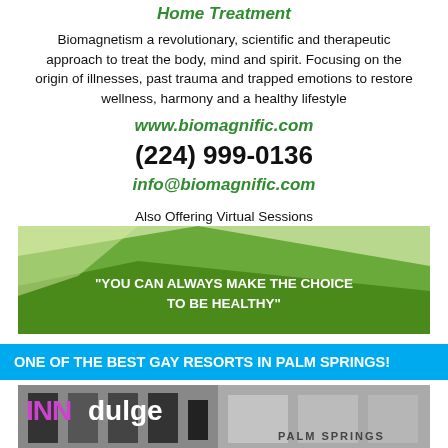Home Treatment
Biomagnetism a revolutionary, scientific and therapeutic approach to treat the body, mind and spirit. Focusing on the origin of illnesses, past trauma and trapped emotions to restore wellness, harmony and a healthy lifestyle
www.biomagnific.com
(224) 999-0136
info@biomagnific.com
Also Offering Virtual Sessions
[Figure (illustration): Green gradient decorative banner with quote: YOU CAN ALWAYS MAKE THE CHOICE TO BE HEALTHY]
ONE OF THE BEST GAY RESORTS IN PALM SPRINGS!
[Figure (photo): INNdulge Palm Springs hotel photo collage]